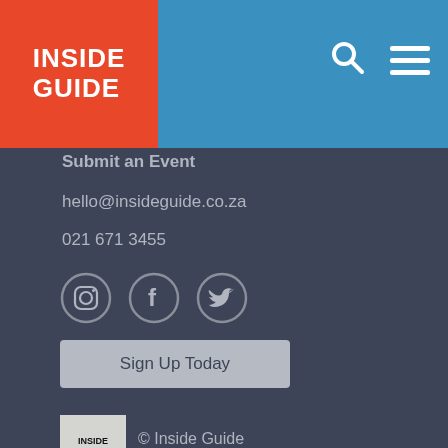INSIDE GUIDE
Submit an Event
hello@insideguide.co.za
021 671 3455
[Figure (illustration): Social media icons: Instagram, Facebook, Twitter in circular outlines]
Sign Up Today
[Figure (logo): Inside Guide logo in black and white square]
© Inside Guide
Terms & Conditions